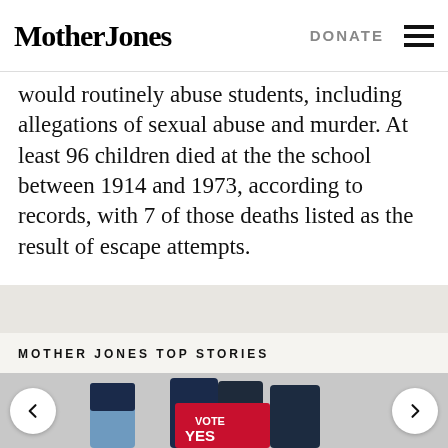Mother Jones | DONATE
would routinely abuse students, including allegations of sexual abuse and murder. At least 96 children died at the the school between 1914 and 1973, according to records, with 7 of those deaths listed as the result of escape attempts.
MOTHER JONES TOP STORIES
[Figure (photo): Four women wearing dark t-shirts posing together; some holding signs reading 'I'll call the shot, not you!' and 'VOTE YES'; carousel navigation arrows visible on left and right sides]